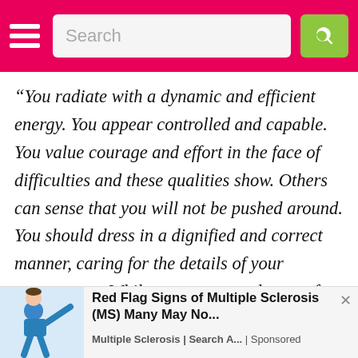Search
“You radiate with a dynamic and efficient energy. You appear controlled and capable. You value courage and effort in the face of difficulties and these qualities show. Others can sense that you will not be pushed around. You should dress in a dignified and correct manner, caring for the details of your appearance. While you may spend most of your time in staid business dress or suits,
[Figure (infographic): Advertisement banner: illustration of a person in blue clothing with text 'Red Flag Signs of Multiple Sclerosis (MS) Many May No...' from Multiple Sclerosis | Search A... | Sponsored]